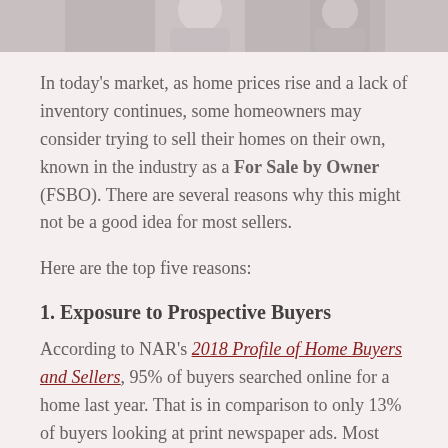[Figure (photo): Partial photo of a person at the top of the page, cropped]
In today's market, as home prices rise and a lack of inventory continues, some homeowners may consider trying to sell their homes on their own, known in the industry as a For Sale by Owner (FSBO). There are several reasons why this might not be a good idea for most sellers.
Here are the top five reasons:
1. Exposure to Prospective Buyers
According to NAR's 2018 Profile of Home Buyers and Sellers, 95% of buyers searched online for a home last year. That is in comparison to only 13% of buyers looking at print newspaper ads. Most real estate agents have an Internet strategy to